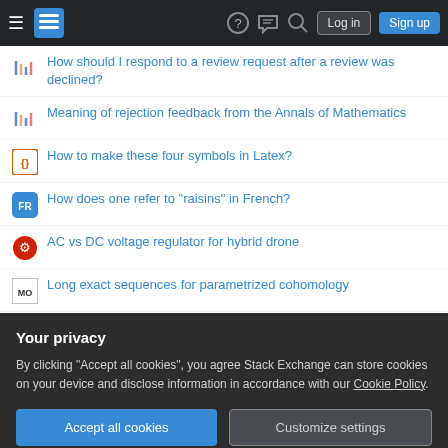Stack Exchange navigation bar with Log in and Sign up buttons
How should I respond to a review request after a review was declined?
Meaning of rejection feedback from the Annals of Mathematics
How to make these four symbols in Latex?
How does one refer to "raisins" in French?
AC vs DC voltage regulator for hybrid drone
Long exact sequences for parametrized cohomology
Is it safe to have a drain in the floor out to the septic tank with no trap?
Is there a technical term for "knee jerk law"?
Poincaré recurrence and its implications for statistical physics and the
Your privacy
By clicking "Accept all cookies", you agree Stack Exchange can store cookies on your device and disclose information in accordance with our Cookie Policy.
CIVICRM